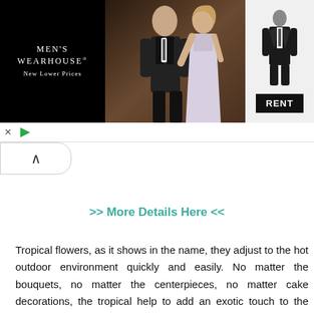[Figure (photo): Men's Wearhouse advertisement banner showing a couple in formal wedding attire and a tuxedo figure with RENT button]
>> More Details Here <<
Tropical flowers, as it shows in the name, they adjust to the hot outdoor environment quickly and easily. No matter the bouquets, no matter the centerpieces, no matter cake decorations, the tropical help to add an exotic touch to the wedding.
Baby's breath
[Figure (photo): Three photos of baby's breath flowers used in wedding arrangements]